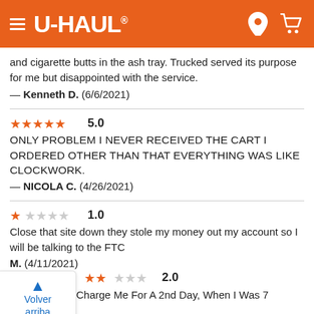[Figure (screenshot): U-Haul website navigation header bar with orange background, hamburger menu, U-Haul logo, location pin icon, and cart icon]
and cigarette butts in the ash tray. Trucked served its purpose for me but disappointed with the service.
— Kenneth D.  (6/6/2021)
★★★★★ 5.0
ONLY PROBLEM I NEVER RECEIVED THE CART I ORDERED OTHER THAN THAT EVERYTHING WAS LIKE CLOCKWORK.
— NICOLA C.  (4/26/2021)
★☆☆☆☆ 1.0
Close that site down they stole my money out my account so I will be talking to the FTC
— M.  (4/11/2021)
Volver arriba
★★☆☆☆ 2.0
They Tried To Charge Me For A 2nd Day, When I Was 7 Minutes Late